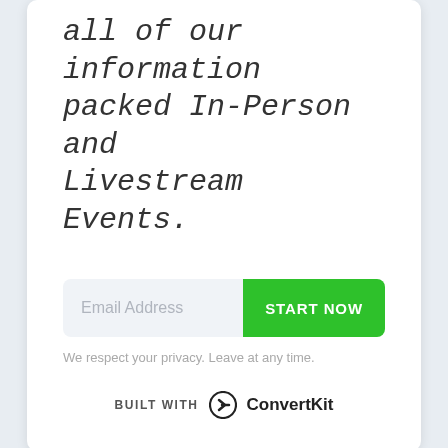all of our information packed In-Person and Livestream Events.
Email Address
START NOW
We respect your privacy. Leave at any time.
BUILT WITH ConvertKit